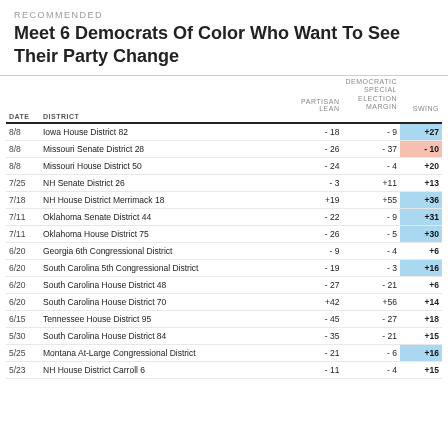RECOMMENDED
Meet 6 Democrats Of Color Who Want To See Their Party Change
| DATE | DISTRICT | PARTISAN LEAN | DEMOCRATIC SPECIAL ELECTION MARGIN | SWING |
| --- | --- | --- | --- | --- |
| 8/8 | Iowa House District 82 | -18 | -9 | +27 |
| 8/8 | Missouri Senate District 28 | -26 | -37 | -10 |
| 8/8 | Missouri House District 50 | -24 | -4 | +20 |
| 7/25 | NH Senate District 26 | -3 | +11 | +13 |
| 7/18 | NH House District Merrimack 18 | +19 | +55 | +36 |
| 7/11 | Oklahoma Senate District 44 | -22 | -9 | +31 |
| 7/11 | Oklahoma House District 75 | -26 | -5 | +30 |
| 6/20 | Georgia 6th Congressional District | -9 | -4 | +6 |
| 6/20 | South Carolina 5th Congressional District | -19 | -3 | +16 |
| 6/20 | South Carolina House District 48 | -27 | -21 | +6 |
| 6/20 | South Carolina House District 70 | +42 | +56 | +14 |
| 6/15 | Tennessee House District 95 | -45 | -27 | +18 |
| 5/30 | South Carolina House District 84 | -35 | -21 | +15 |
| 5/25 | Montana At-Large Congressional District | -21 | -6 | +16 |
| 5/23 | NH House District Carroll 6 | -11 | -4 | +15 |